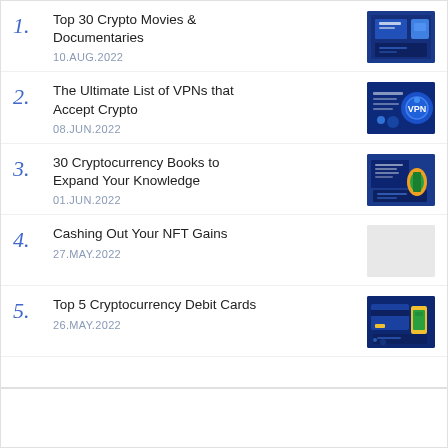Top 30 Crypto Movies & Documentaries
10.AUG.2022
The Ultimate List of VPNs that Accept Crypto
08.JUN.2022
30 Cryptocurrency Books to Expand Your Knowledge
01.JUN.2022
Cashing Out Your NFT Gains
27.MAY.2022
Top 5 Cryptocurrency Debit Cards
26.MAY.2022